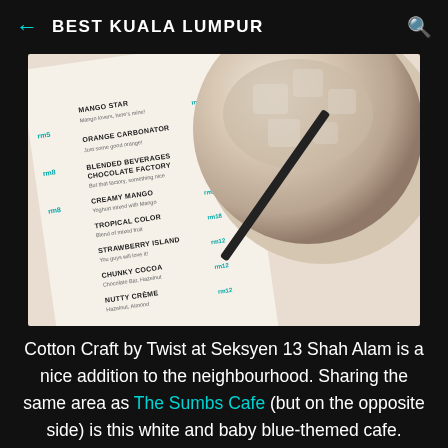← BEST KUALA LUMPUR
[Figure (photo): Overhead photo showing a cafe menu on the left with items including Mango Star, Orange Carbonator, Blended Beverages Chocolate Factory, Creamy Mango, Tropical Color, Strawberry Island, Chunky Cocoa, Nutty Creme — with prices in teal (rm10, rm12, etc.) — and an iced coffee/latte drink in a glass with a black straw on the right.]
Cotton Craft by Twist at Seksyen 13 Shah Alam is a nice addition to the neighbourhood. Sharing the same area as The Sumbs Cafe (but on the opposite side) is this white and baby blue-themed cafe.